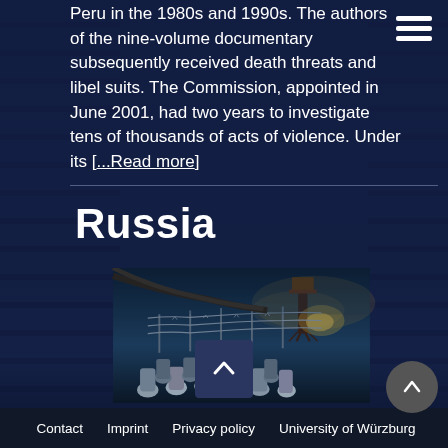Peru in the 1980s and 1990s. The authors of the nine-volume documentary subsequently received death threats and libel suits. The Commission, appointed in June 2001, had two years to investigate tens of thousands of acts of violence. Under its [...Read more]
Russia
[Figure (illustration): A painted illustration depicting a dark, dramatic scene with figures in heavy coats standing before barbed wire fencing and a guard tower, rendered in teal/blue painterly style suggesting a prison or gulag setting.]
Contact  Imprint  Privacy policy  University of Würzburg